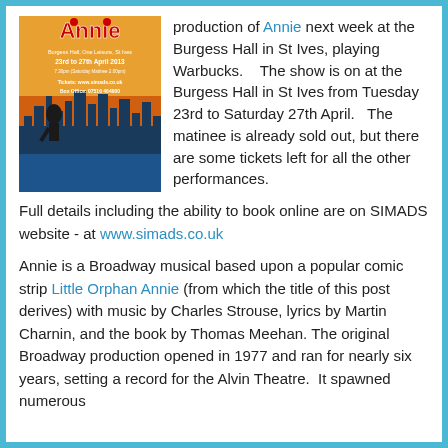[Figure (photo): Annie musical poster: 23rd to 27th April 2013, Burgess Hall, One Leisure, St Ives. Shows stylized Annie silhouette against orange/blue NYC skyline. Red text 'Annie' at top. Tickets: www.simads.co.uk, Box Office: 07516 464900.]
production of Annie next week at the Burgess Hall in St Ives, playing Warbucks.    The show is on at the Burgess Hall in St Ives from Tuesday 23rd to Saturday 27th April.   The matinee is already sold out, but there are some tickets left for all the other performances.   Full details including the ability to book online are on SIMADS website - at www.simads.co.uk
Annie is a Broadway musical based upon a popular comic strip Little Orphan Annie (from which the title of this post derives) with music by Charles Strouse, lyrics by Martin Charnin, and the book by Thomas Meehan. The original Broadway production opened in 1977 and ran for nearly six years, setting a record for the Alvin Theatre.  It spawned numerous